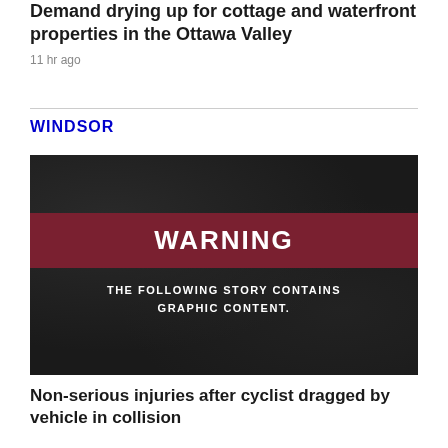Demand drying up for cottage and waterfront properties in the Ottawa Valley
11 hr ago
WINDSOR
[Figure (photo): Warning image on dark textured background with a dark red banner reading 'WARNING' and subtext 'THE FOLLOWING STORY CONTAINS GRAPHIC CONTENT.']
Non-serious injuries after cyclist dragged by vehicle in collision